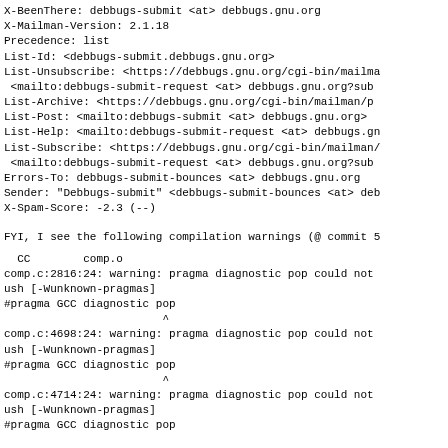X-BeenThere: debbugs-submit <at> debbugs.gnu.org
X-Mailman-Version: 2.1.18
Precedence: list
List-Id: <debbugs-submit.debbugs.gnu.org>
List-Unsubscribe: <https://debbugs.gnu.org/cgi-bin/mailma
 <mailto:debbugs-submit-request <at> debbugs.gnu.org?sub
List-Archive: <https://debbugs.gnu.org/cgi-bin/mailman/p
List-Post: <mailto:debbugs-submit <at> debbugs.gnu.org>
List-Help: <mailto:debbugs-submit-request <at> debbugs.gn
List-Subscribe: <https://debbugs.gnu.org/cgi-bin/mailman/
 <mailto:debbugs-submit-request <at> debbugs.gnu.org?sub
Errors-To: debbugs-submit-bounces <at> debbugs.gnu.org
Sender: "Debbugs-submit" <debbugs-submit-bounces <at> deb
X-Spam-Score: -2.3 (--)
FYI, I see the following compilation warnings (@ commit 5
CC        comp.o
comp.c:2816:24: warning: pragma diagnostic pop could not
ush [-Wunknown-pragmas]
#pragma GCC diagnostic pop
                        ^
comp.c:4698:24: warning: pragma diagnostic pop could not
ush [-Wunknown-pragmas]
#pragma GCC diagnostic pop
                        ^
comp.c:4714:24: warning: pragma diagnostic pop could not
ush [-Wunknown-pragmas]
#pragma GCC diagnostic pop